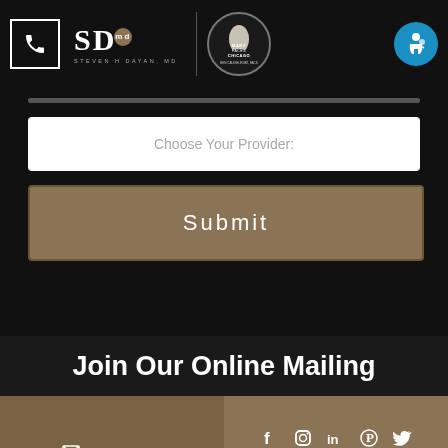Steven H Dayan, MD — Many Faces Chicago — Ben Caughlin MD, FACS
Choose Your Provider:
Submit
Join Our Online Mailing
Contact Us
Social media icons: Facebook, Instagram, LinkedIn, Pinterest, Twitter, YouTube